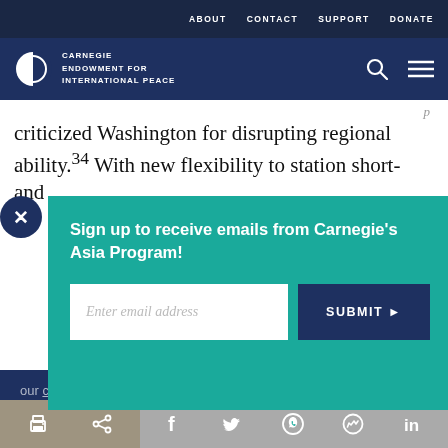ABOUT  CONTACT  SUPPORT  DONATE
[Figure (logo): Carnegie Endowment for International Peace logo with globe icon and navigation icons for search and menu]
criticized Washington for disrupting regional ability.34 With new flexibility to station short- and
[Figure (screenshot): Email sign-up popup overlay in teal: 'Sign up to receive emails from Carnegie's Asia Program!' with email input field and SUBMIT button]
our cookie policy.
Print | Share | Facebook | Twitter | WhatsApp | Messenger | LinkedIn